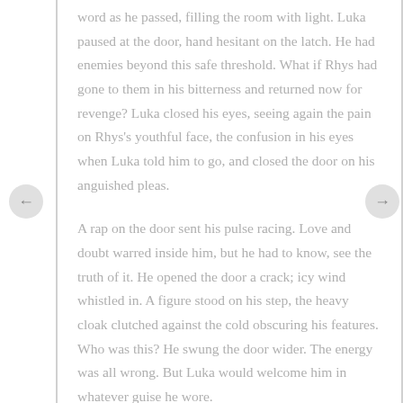word as he passed, filling the room with light. Luka paused at the door, hand hesitant on the latch. He had enemies beyond this safe threshold. What if Rhys had gone to them in his bitterness and returned now for revenge? Luka closed his eyes, seeing again the pain on Rhys's youthful face, the confusion in his eyes when Luka told him to go, and closed the door on his anguished pleas.
A rap on the door sent his pulse racing. Love and doubt warred inside him, but he had to know, see the truth of it. He opened the door a crack; icy wind whistled in. A figure stood on his step, the heavy cloak clutched against the cold obscuring his features. Who was this? He swung the door wider. The energy was all wrong. But Luka would welcome him in whatever guise he wore.